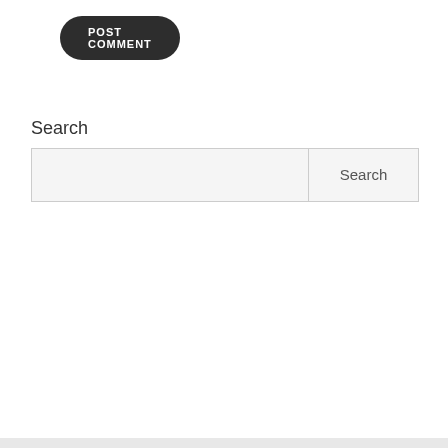POST COMMENT
Search
Search
Tweets by jonjensenCNN